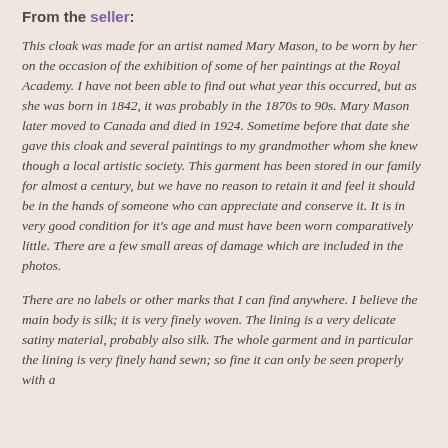From the seller:
This cloak was made for an artist named Mary Mason, to be worn by her on the occasion of the exhibition of some of her paintings at the Royal Academy. I have not been able to find out what year this occurred, but as she was born in 1842, it was probably in the 1870s to 90s. Mary Mason later moved to Canada and died in 1924. Sometime before that date she gave this cloak and several paintings to my grandmother whom she knew though a local artistic society. This garment has been stored in our family for almost a century, but we have no reason to retain it and feel it should be in the hands of someone who can appreciate and conserve it. It is in very good condition for it's age and must have been worn comparatively little. There are a few small areas of damage which are included in the photos.
There are no labels or other marks that I can find anywhere. I believe the main body is silk; it is very finely woven. The lining is a very delicate satiny material, probably also silk. The whole garment and in particular the lining is very finely hand sewn; so fine it can only be seen properly with a magnifying glass.